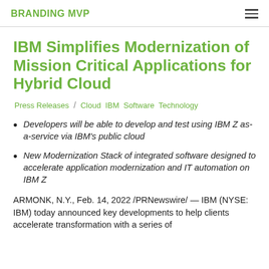BRANDING MVP
IBM Simplifies Modernization of Mission Critical Applications for Hybrid Cloud
Press Releases / Cloud IBM Software Technology
Developers will be able to develop and test using IBM Z as-a-service via IBM's public cloud
New Modernization Stack of integrated software designed to accelerate application modernization and IT automation on IBM Z
ARMONK, N.Y., Feb. 14, 2022 /PRNewswire/ — IBM (NYSE: IBM) today announced key developments to help clients accelerate transformation with a series of